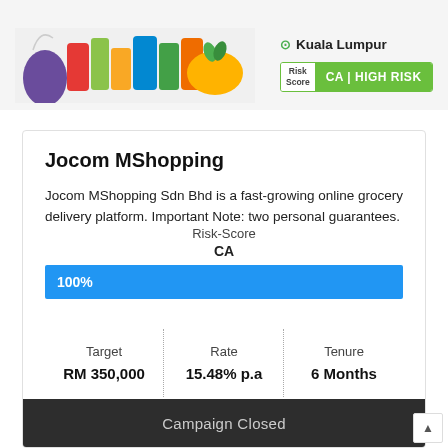[Figure (photo): Grocery delivery products including various food and household items displayed together]
Kuala Lumpur
Risk Score CA|HIGH RISK
Jocom MShopping
Jocom MShopping Sdn Bhd is a fast-growing online grocery delivery platform. Important Note: two personal guarantees.
Risk-Score
CA
100%
| Target | Rate | Tenure |
| --- | --- | --- |
| RM 350,000 | 15.48% p.a | 6 Months |
Campaign Closed